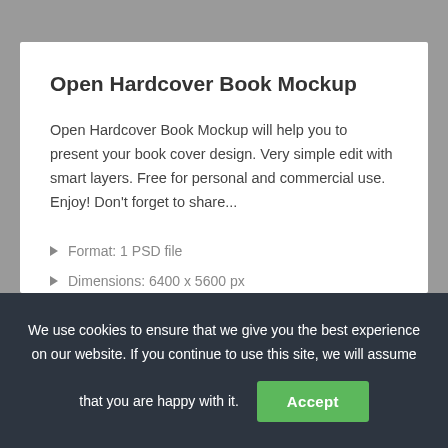Open Hardcover Book Mockup
Open Hardcover Book Mockup will help you to present your book cover design. Very simple edit with smart layers. Free for personal and commercial use. Enjoy! Don't forget to share...
Format: 1 PSD file
Dimensions: 6400 x 5600 px
Size: 164 Mb
We use cookies to ensure that we give you the best experience on our website. If you continue to use this site, we will assume that you are happy with it.